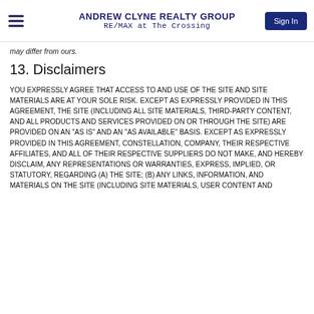ANDREW CLYNE REALTY GROUP RE/MAX at The Crossing
may differ from ours.
13. Disclaimers
YOU EXPRESSLY AGREE THAT ACCESS TO AND USE OF THE SITE AND SITE MATERIALS ARE AT YOUR SOLE RISK. EXCEPT AS EXPRESSLY PROVIDED IN THIS AGREEMENT, THE SITE (INCLUDING ALL SITE MATERIALS, THIRD-PARTY CONTENT, AND ALL PRODUCTS AND SERVICES PROVIDED ON OR THROUGH THE SITE) ARE PROVIDED ON AN "AS IS" AND AN "AS AVAILABLE" BASIS. EXCEPT AS EXPRESSLY PROVIDED IN THIS AGREEMENT, CONSTELLATION, COMPANY, THEIR RESPECTIVE AFFILIATES, AND ALL OF THEIR RESPECTIVE SUPPLIERS DO NOT MAKE, AND HEREBY DISCLAIM, ANY REPRESENTATIONS OR WARRANTIES, EXPRESS, IMPLIED, OR STATUTORY, REGARDING (A) THE SITE; (B) ANY LINKS, INFORMATION, AND MATERIALS ON THE SITE (INCLUDING SITE MATERIALS, USER CONTENT AND